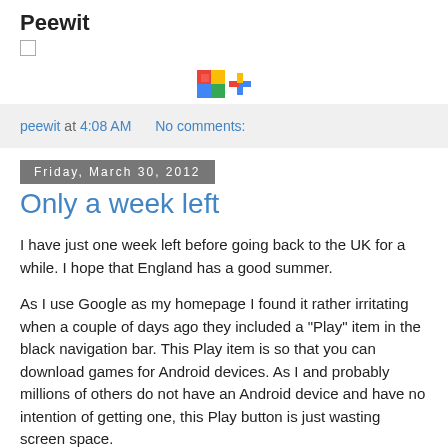Peewit
[Figure (logo): Small Google+ or Picasa colorful icon/logo]
peewit at 4:08 AM    No comments:
Friday, March 30, 2012
Only a week left
I have just one week left before going back to the UK for a while. I hope that England has a good summer.
As I use Google as my homepage I found it rather irritating when a couple of days ago they included a "Play" item in the black navigation bar. This Play item is so that you can download games for Android devices. As I and probably millions of others do not have an Android device and have no intention of getting one, this Play button is just wasting screen space.